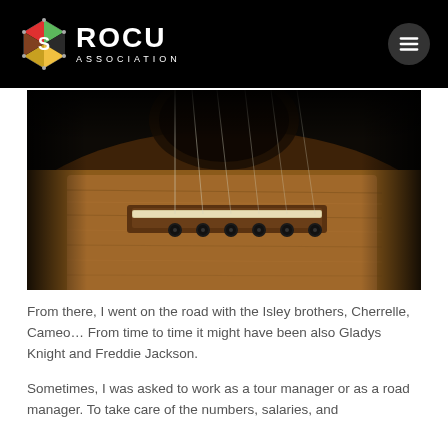[Figure (logo): ROCU Association logo with hexagonal icon and white text on black header bar, with hamburger menu button on right]
[Figure (photo): Close-up macro photograph of an acoustic guitar bridge and strings, shot in dark moody lighting showing wooden body, bridge saddle, and six tuning pins]
From there, I went on the road with the Isley brothers, Cherrelle, Cameo… From time to time it might have been also Gladys Knight and Freddie Jackson.
Sometimes, I was asked to work as a tour manager or as a road manager. To take care of the numbers, salaries, and